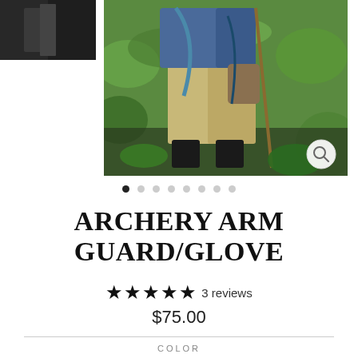[Figure (photo): Small thumbnail photo of archery equipment, dark tones]
[Figure (photo): Main product photo showing a person in outdoor setting holding a bow, wearing archery arm guard/glove, surrounded by green foliage]
● ○ ○ ○ ○ ○ ○ ○  (8 navigation dots, first filled)
ARCHERY ARM GUARD/GLOVE
★★★★★ 3 reviews
$75.00
COLOR